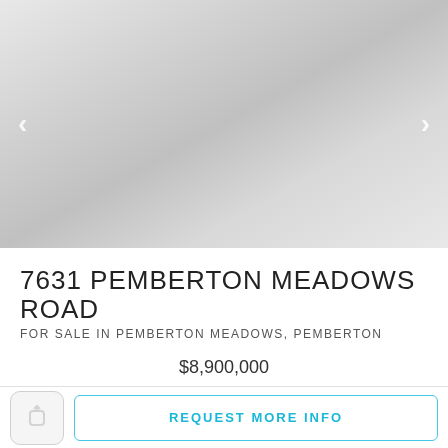[Figure (photo): Property listing image area with navigation arrows on left and right; image appears blank/light gray (placeholder)]
7631 PEMBERTON MEADOWS ROAD
FOR SALE IN PEMBERTON MEADOWS, PEMBERTON
$8,900,000
REQUEST MORE INFO